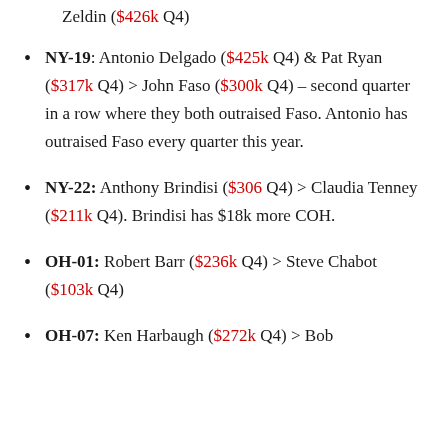Zeldin ($426k Q4)
NY-19: Antonio Delgado ($425k Q4) & Pat Ryan ($317k Q4) > John Faso ($300k Q4) – second quarter in a row where they both outraised Faso. Antonio has outraised Faso every quarter this year.
NY-22: Anthony Brindisi ($306 Q4) > Claudia Tenney ($211k Q4). Brindisi has $18k more COH.
OH-01: Robert Barr ($236k Q4) > Steve Chabot ($103k Q4)
OH-07: Ken Harbaugh ($272k Q4) > Bob